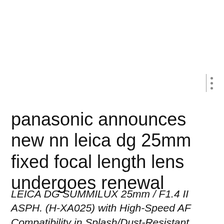panasonic announces new nn leica dg 25mm fixed focal length lens undergoes renewal
LEICA DG SUMMILUX 25mm / F1.4 II ASPH. (H-XA025) with High-Speed AF Compatibility in Splash/Dust-Resistant Rugged Design *35mm camera